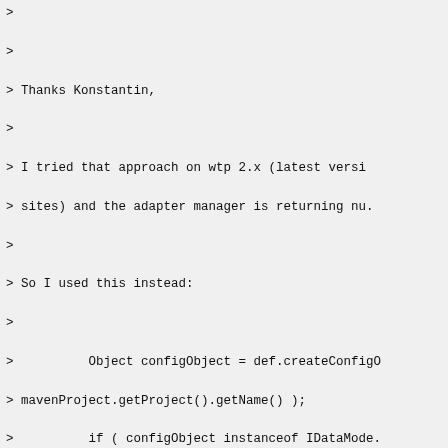> 
> 
> Thanks Konstantin,
> 
> I tried that approach on wtp 2.x (latest versi
> sites) and the adapter manager is returning nu.
> 
> So I used this instead:
> 
>          Object configObject = def.createConfigO
> mavenProject.getProject().getName() );
>          if ( configObject instanceof IDataMode.
>          {
>               // This works in WTP 2.0
>               return (IDataModel) configObject;
>          }
>          else
>          {
>               // This is the compatibility layer
>               return (IDataModel) Platform.getAd:
> configObject, IDataModel.class.getName() );
>          }
> 
> 
> Which configfies for WTP 2.x and also 1.x and